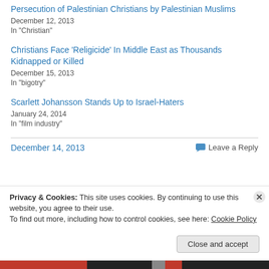Persecution of Palestinian Christians by Palestinian Muslims
December 12, 2013
In "Christian"
Christians Face 'Religicide' In Middle East as Thousands Kidnapped or Killed
December 15, 2013
In "bigotry"
Scarlett Johansson Stands Up to Israel-Haters
January 24, 2014
In "film industry"
December 14, 2013
Leave a Reply
Privacy & Cookies: This site uses cookies. By continuing to use this website, you agree to their use.
To find out more, including how to control cookies, see here: Cookie Policy
Close and accept